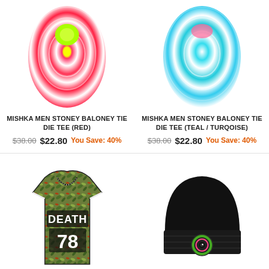[Figure (photo): Red tie-dye t-shirt with lime green sunburst design (top cropped)]
MISHKA MEN STONEY BALONEY TIE DIE TEE (RED)
$38.00  $22.80  You Save: 40%
[Figure (photo): Teal/turquoise tie-dye t-shirt with pink text (top cropped)]
MISHKA MEN STONEY BALONEY TIE DIE TEE (TEAL / TURQOISE)
$38.00  $22.80  You Save: 40%
[Figure (photo): Green floral/leaf patterned football jersey with DEATH 78 text]
MISHKA MR NICE GUY FOOTBALL JERSEY (GREEN / STRAWBERRY CRUSH)
[Figure (photo): Black beanie hat with circular green and pink emblem patch]
MISHKA LAMOUR KEEP WATCH BEANIE (BLACK)